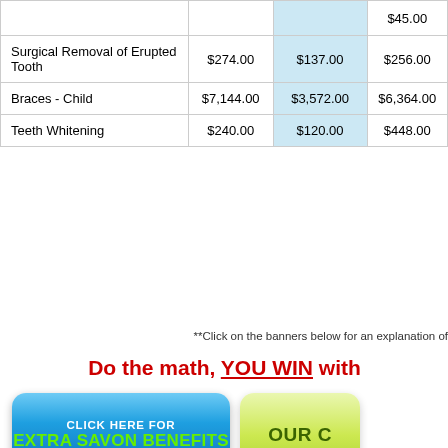|  |  |  | $45.00 |
| --- | --- | --- | --- |
| Surgical Removal of Erupted Tooth | $274.00 | $137.00 | $256.00 |
| Braces - Child | $7,144.00 | $3,572.00 | $6,364.00 |
| Teeth Whitening | $240.00 | $120.00 | $448.00 |
**Click on the banners below for an explanation of
Do the math, YOU WIN with
[Figure (infographic): Blue button reading CLICK HERE FOR EXTRA SAVON BENEFITS, and partial green button reading OUR C...]
The fees shown above are based on zone. Fee schedules may vary by Refer to the Savon Fee Schedule for actual fe
Although we have carefully researched the company that we are comparing, Savon a
Savon assumes no responsibility nor do we guarantee tha
The fee schedule is in effect only in geographical areas where Netw